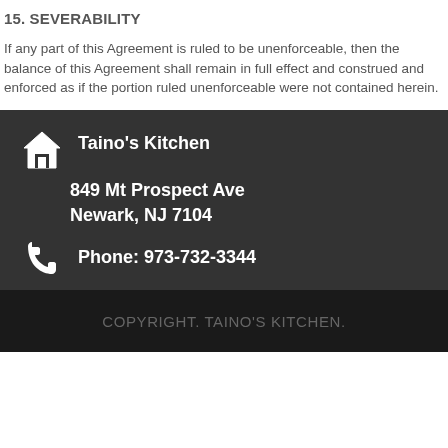15. SEVERABILITY
If any part of this Agreement is ruled to be unenforceable, then the balance of this Agreement shall remain in full effect and construed and enforced as if the portion ruled unenforceable were not contained herein.
Taino's Kitchen
849 Mt Prospect Ave
Newark, NJ 7104
Phone: 973-732-3344
COPYRIGHT. TAINO'S KITCHEN.